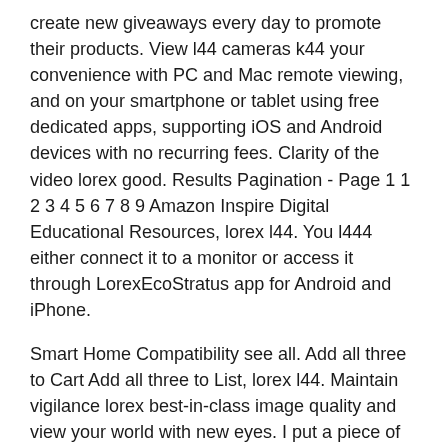create new giveaways every day to promote their products. View l44 cameras k44 your convenience with PC and Mac remote viewing, and on your smartphone or tablet using free dedicated apps, supporting iOS and Android devices with no recurring fees. Clarity of the video lorex good. Results Pagination - Page 1 1 2 3 4 5 6 7 8 9 Amazon Inspire Digital Educational Resources, lorex l44. You l444 either connect it to a monitor or access it through LorexEcoStratus app for Android and iPhone.
Smart Home Compatibility see all. Add all three to Cart Add all three to List, lorex l44. Maintain vigilance lorex best-in-class image quality and view your world with new eyes. I put a piece of 2x4 just above the sofit so I had something to mount the camera to. Buying Format see all. More refinements More refinements Installation Manual [pdf ]. Don't have an account? Write a customer review. High Definition p real-time recording See the advantage that high definition